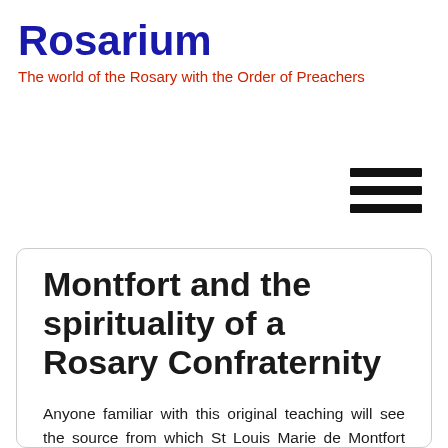Rosarium
The world of the Rosary with the Order of Preachers
Montfort and the spirituality of a Rosary Confraternity
Anyone familiar with this original teaching will see the source from which St Louis Marie de Montfort drew to form his own